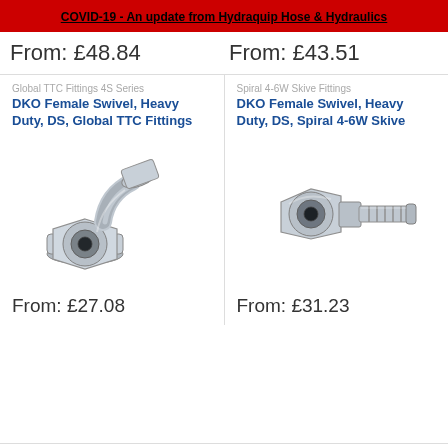COVID-19 - An update from Hydraquip Hose & Hydraulics
From: £48.84
From: £43.51
Global TTC Fittings 4S Series
DKO Female Swivel, Heavy Duty, DS, Global TTC Fittings
[Figure (photo): Photo of a DKO Female Swivel Heavy Duty DS Global TTC Fitting - a bent hydraulic hose fitting with swivel nut]
Spiral 4-6W Skive Fittings
DKO Female Swivel, Heavy Duty, DS, Spiral 4-6W Skive
[Figure (photo): Photo of a DKO Female Swivel Heavy Duty DS Spiral 4-6W Skive Fitting - a straight hydraulic hose fitting with barbed end]
From: £27.08
From: £31.23